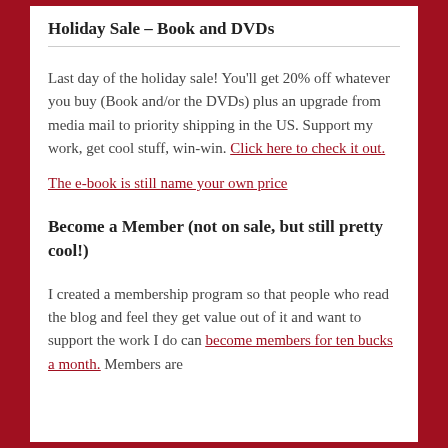Holiday Sale – Book and DVDs
Last day of the holiday sale!  You'll get 20% off whatever you buy (Book and/or the DVDs) plus an upgrade from media mail to priority shipping in the US.  Support my work, get cool stuff, win-win. Click here to check it out.
The e-book is still name your own price
Become a Member (not on sale, but still pretty cool!)
I created a membership program so that people who read the blog and feel they get value out of it and want to  support the work I do can become members for ten bucks a month.  Members are